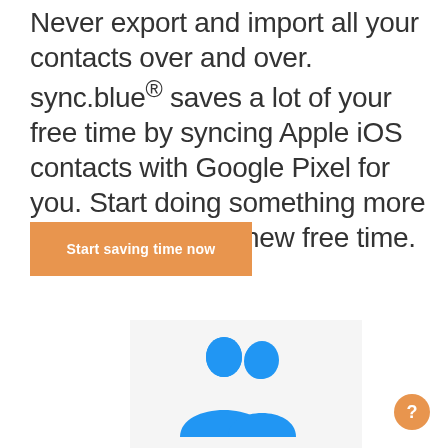Never export and import all your contacts over and over. sync.blue® saves a lot of your free time by syncing Apple iOS contacts with Google Pixel for you. Start doing something more valueable in your new free time.
Start saving time now
[Figure (illustration): Two blue silhouette profile icons (person heads) side by side, representing contact syncing, on a light gray background]